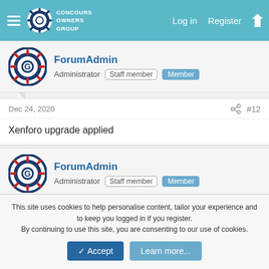Concours Owners Group — Log in | Register
ForumAdmin — Administrator | Staff member | Member
Dec 24, 2020 #12
Xenforo upgrade applied
ForumAdmin — Administrator | Staff member | Member
Feb 13, 2021 #13
Xenforo patch applied
This site uses cookies to help personalise content, tailor your experience and to keep you logged in if you register. By continuing to use this site, you are consenting to our use of cookies.